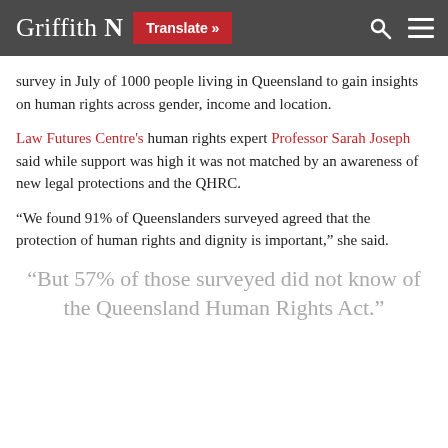Griffith N  Translate »
survey in July of 1000 people living in Queensland to gain insights on human rights across gender, income and location.
Law Futures Centre's human rights expert Professor Sarah Joseph said while support was high it was not matched by an awareness of new legal protections and the QHRC.
“We found 91% of Queenslanders surveyed agreed that the protection of human rights and dignity is important,” she said.
“But 57% of those surveyed did not know of the Queensland Human Rights Act.”